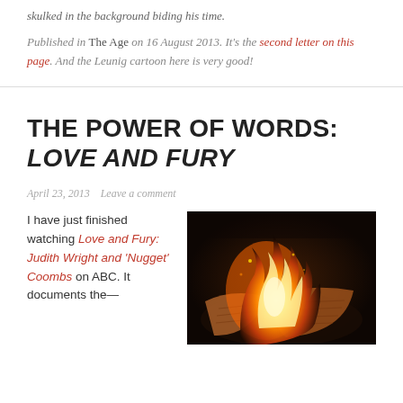skulked in the background biding his time.
Published in The Age on 16 August 2013. It's the second letter on this page. And the Leunig cartoon here is very good!
THE POWER OF WORDS: LOVE AND FURY
April 23, 2013   Leave a comment
I have just finished watching Love and Fury: Judith Wright and 'Nugget' Coombs on ABC. It documents the—
[Figure (photo): A burning book or letter with handwritten text, flames visible on pages, dark background]